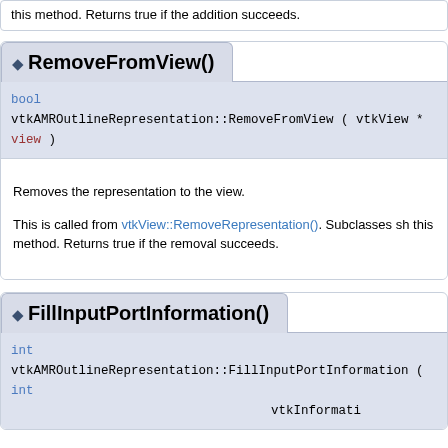this method. Returns true if the addition succeeds.
RemoveFromView()
bool vtkAMROutlineRepresentation::RemoveFromView ( vtkView *  view )
Removes the representation to the view.

This is called from vtkView::RemoveRepresentation(). Subclasses sh... this method. Returns true if the removal succeeds.
FillInputPortInformation()
int vtkAMROutlineRepresentation::FillInputPortInformation ( int vtkInformati...